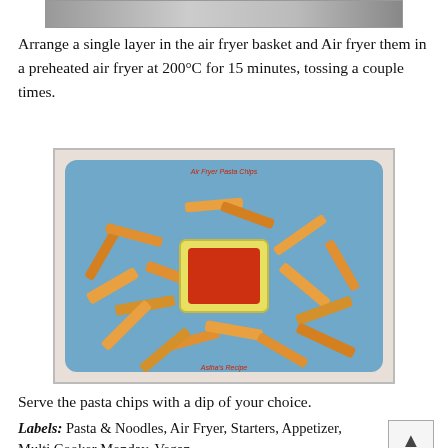[Figure (photo): Top portion of a food photo, partially cropped at the top of the page]
Arrange a single layer in the air fryer basket and Air fryer them in a preheated air fryer at 200°C for 15 minutes, tossing a couple times.
[Figure (photo): Photo of golden pasta chips arranged on a blue plate with a small square bowl of red dipping sauce. Text overlay reads 'Air Fryer Pasta Chips' at top and 'Astha's Recipe' at bottom.]
Serve the pasta chips with a dip of your choice.
Labels: Pasta & Noodles, Air Fryer, Starters, Appetizer, Multi Cooker Monday, Vegan
Multicooker Monday - October 2021
Air Fryer Pasta Chips from Sandhya's Recipe...